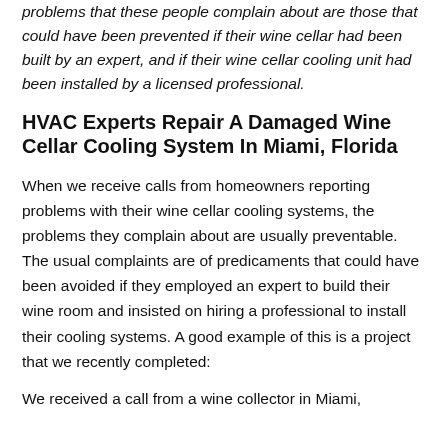problems that these people complain about are those that could have been prevented if their wine cellar had been built by an expert, and if their wine cellar cooling unit had been installed by a licensed professional.
HVAC Experts Repair A Damaged Wine Cellar Cooling System In Miami, Florida
When we receive calls from homeowners reporting problems with their wine cellar cooling systems, the problems they complain about are usually preventable. The usual complaints are of predicaments that could have been avoided if they employed an expert to build their wine room and insisted on hiring a professional to install their cooling systems. A good example of this is a project that we recently completed:
We received a call from a wine collector in Miami,